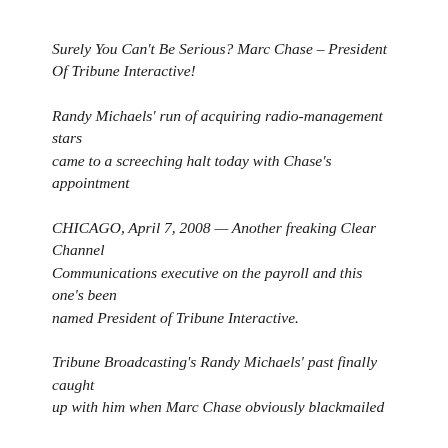Surely You Can't Be Serious? Marc Chase – President Of Tribune Interactive!
Randy Michaels' run of acquiring radio-management stars came to a screeching halt today with Chase's appointment
CHICAGO, April 7, 2008 — Another freaking Clear Channel Communications executive on the payroll and this one's been named President of Tribune Interactive.
Tribune Broadcasting's Randy Michaels' past finally caught up with him when Marc Chase obviously blackmailed